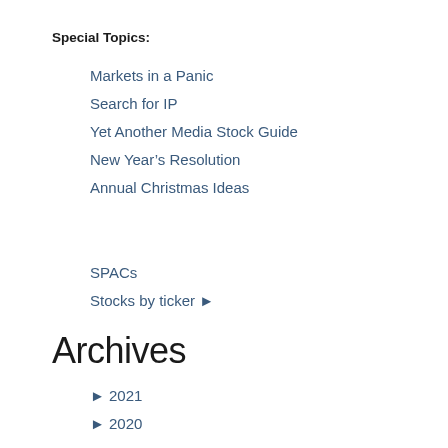Special Topics:
Markets in a Panic
Search for IP
Yet Another Media Stock Guide
New Year's Resolution
Annual Christmas Ideas
SPACs
Stocks by ticker ▶
Archives
▶ 2021
▶ 2020